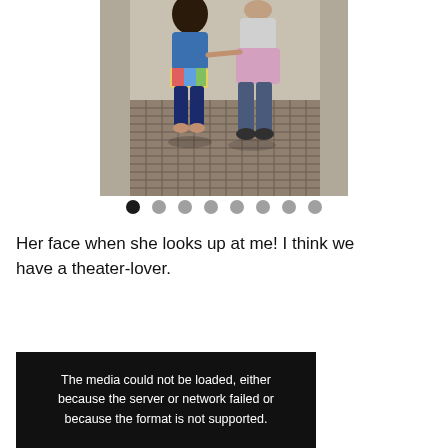[Figure (photo): Two people walking away from the camera, one a child with curly hair wearing a blue denim jacket and colorful skirt, the other taller in a pink/lavender skirt and jeans, holding hands on a metal grate sidewalk.]
Her face when she looks up at me! I think we have a theater-lover.
[Figure (screenshot): Black video player with error message: The media could not be loaded, either because the server or network failed or because the format is not supported.]